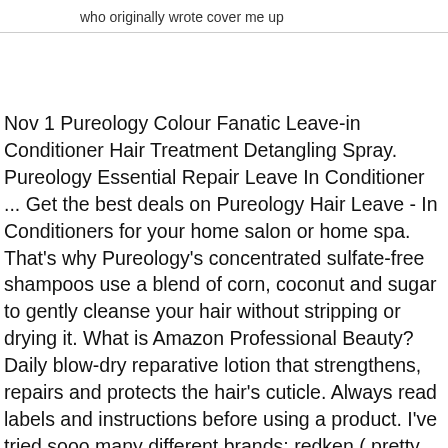who originally wrote cover me up
Nov 1 Pureology Colour Fanatic Leave-in Conditioner Hair Treatment Detangling Spray. Pureology Essential Repair Leave In Conditioner ... Get the best deals on Pureology Hair Leave - In Conditioners for your home salon or home spa. That's why Pureology's concentrated sulfate-free shampoos use a blend of corn, coconut and sugar to gently cleanse your hair without stripping or drying it. What is Amazon Professional Beauty? Daily blow-dry reparative lotion that strengthens, repairs and protects the hair's cuticle. Always read labels and instructions before using a product. I've tried sooo many different brands; redken ( pretty good), enjoy (really good conditioner), Kevin Murphy (I tried their products when I got a cut and blowout at a salon, I really like them), hair caviar (shampoo is great for controlling humidity but the conditioner is terrible) . Amazon has curated a selection of high-quality products that can be found in professional settings such as salons, spas, and dermatology offices. Pureology Hydrate